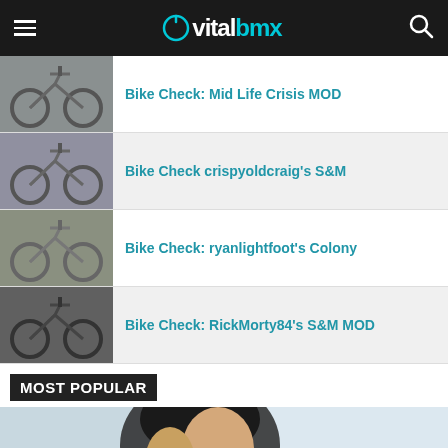vitalbmx
Bike Check: Mid Life Crisis MOD
Bike Check crispyoldcraig's S&M
Bike Check: ryanlightfoot's Colony
Bike Check: RickMorty84's S&M MOD
MOST POPULAR
[Figure (photo): Female BMX rider wearing a black helmet, looking sideways at a skate park]